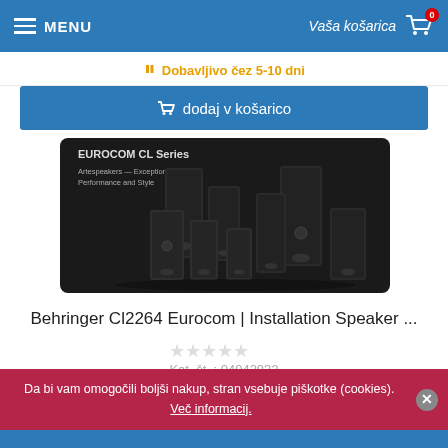MENU | Vaša košarica 0
Dobavljivo čez 5-10 dni
dodaj v košarico
[Figure (photo): EUROCOM CL Series speakers product photo showing multiple black speaker units of various sizes against a dark background]
Behringer Cl2264 Eurocom | Installation Speaker ...
Kat. št. : 04042932
449,00 €
Da bi vam omogočili boljši nakup, stran vsebuje piškotke (cookies). Več informacij.